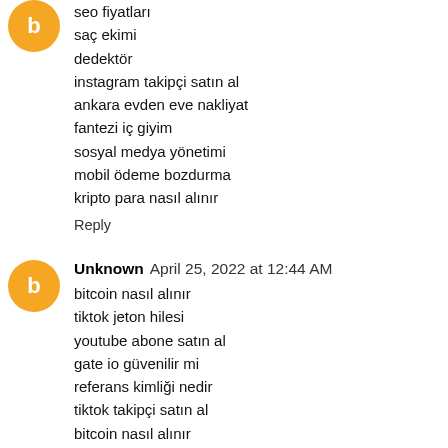seo fiyatları
saç ekimi
dedektör
instagram takipçi satın al
ankara evden eve nakliyat
fantezi iç giyim
sosyal medya yönetimi
mobil ödeme bozdurma
kripto para nasıl alınır
Reply
Unknown  April 25, 2022 at 12:44 AM
bitcoin nasıl alınır
tiktok jeton hilesi
youtube abone satın al
gate io güvenilir mi
referans kimliği nedir
tiktok takipçi satın al
bitcoin nasıl alınır
mobil ödeme bozdurma